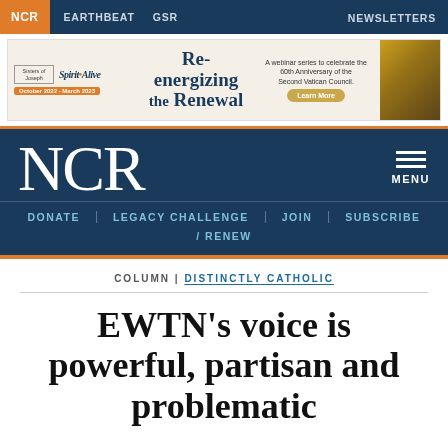NCR | EARTHBEAT | GSR | NEWSLETTERS
[Figure (infographic): Advertisement banner for Spirit Alive webinar series 'Re-energizing the Renewal' — A webinar series to celebrate the 60th Anniversary of the Second Vatican Council. October 2022 - March 2023. Learn More.]
NCR
MENU
DONATE | LEGACY CHALLENGE | JOIN | SUBSCRIBE / RENEW
COLUMN | DISTINCTLY CATHOLIC
EWTN's voice is powerful, partisan and problematic